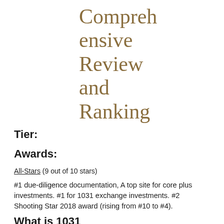Comprehensive Review and Ranking
Tier:
Awards:
All-Stars (9 out of 10 stars)
#1 due-diligence documentation, A top site for core plus investments. #1 for 1031 exchange investments. #2 Shooting Star 2018 award (rising from #10 to #4).
What is 1031